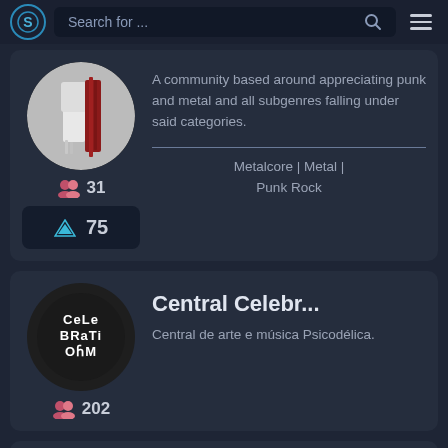Search for ...
A community based around appreciating punk and metal and all subgenres falling under said categories.
31
75
Metalcore | Metal | Punk Rock
Central Celebr...
Central de arte e música Psicodélica.
202